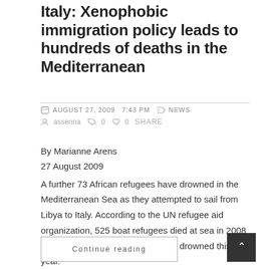Italy: Xenophobic immigration policy leads to hundreds of deaths in the Mediterranean
AUGUST 27, 2009  7:43 pm   NEWS
assenna   0   0  SHARE
By Marianne Arens
27 August 2009
A further 73 African refugees have drowned in the Mediterranean Sea as they attempted to sail from Libya to Italy. According to the UN refugee aid organization, 525 boat refugees died at sea in 2008 and several hundred have already drowned this year.
Continue reading